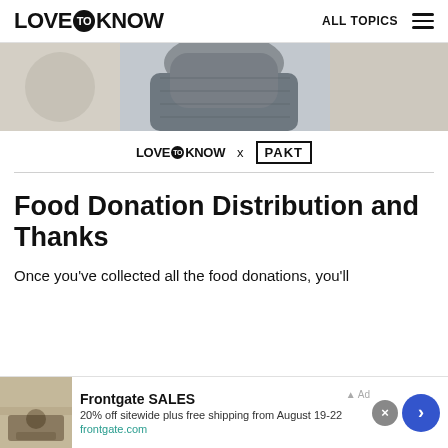LOVE TO KNOW | ALL TOPICS
[Figure (photo): Partial photo of person wearing dark textured jacket, cropped view]
[Figure (logo): LoveToKnow x PAKT brand collaboration logo]
Food Donation Distribution and Thanks
Once you've collected all the food donations, you'll
[Figure (infographic): Advertisement banner: Frontgate SALES - 20% off sitewide plus free shipping from August 19-22, frontgate.com]